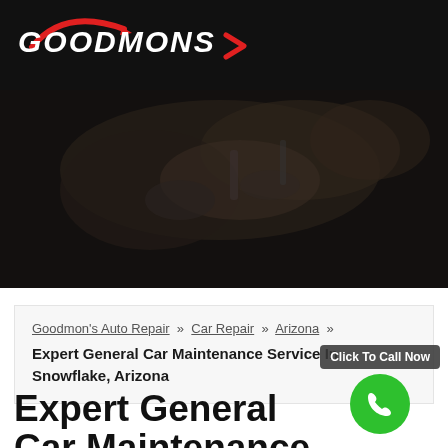GOODMONS
[Figure (photo): Mechanic hands working on car engine in dark workshop setting]
Goodmon's Auto Repair » Car Repair » Arizona » Expert General Car Maintenance Service In Snowflake, Arizona
Expert General Car Maintenance Service In